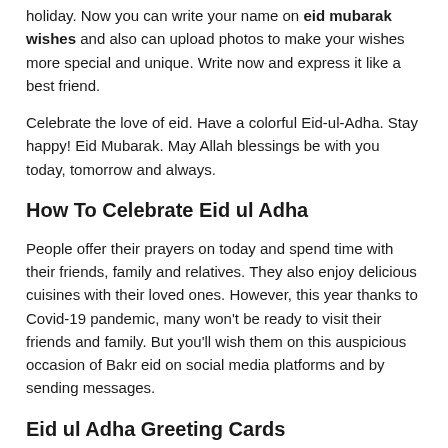holiday. Now you can write your name on eid mubarak wishes and also can upload photos to make your wishes more special and unique. Write now and express it like a best friend.
Celebrate the love of eid. Have a colorful Eid-ul-Adha. Stay happy! Eid Mubarak. May Allah blessings be with you today, tomorrow and always.
How To Celebrate Eid ul Adha
People offer their prayers on today and spend time with their friends, family and relatives. They also enjoy delicious cuisines with their loved ones. However, this year thanks to Covid-19 pandemic, many won't be ready to visit their friends and family. But you'll wish them on this auspicious occasion of Bakr eid on social media platforms and by sending messages.
Eid ul Adha Greeting Cards
People exchange Eid Mubarak wishes message to celebrate Eid ul Adha festival. Use our Eid Mubarak greetings, wishes and message to share on Social Media platforms, including Facebook posts, Instagram status, Tweets, then more. You can